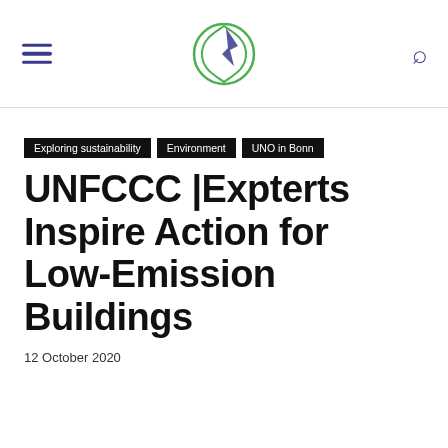UNFCCC website header with logo, hamburger menu, and search icon
Exploring sustainability
Environment
UNO in Bonn
UNFCCC |Expterts Inspire Action for Low-Emission Buildings
12 October 2020